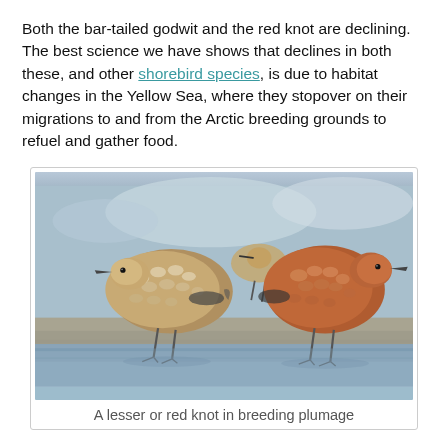Both the bar-tailed godwit and the red knot are declining. The best science we have shows that declines in both these, and other shorebird species, is due to habitat changes in the Yellow Sea, where they stopover on their migrations to and from the Arctic breeding grounds to refuel and gather food.
[Figure (photo): A lesser or red knot in breeding plumage — three shorebirds with speckled brown and rusty plumage standing in shallow water.]
A lesser or red knot in breeding plumage